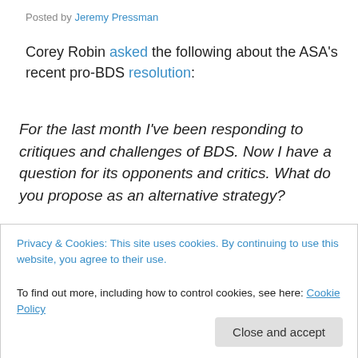Posted by Jeremy Pressman
Corey Robin asked the following about the ASA’s recent pro-BDS resolution:
For the last month I’ve been responding to critiques and challenges of BDS. Now I have a question for its opponents and critics. What do you propose as an alternative strategy?
I am not sure I am entitled to answer since I have not written any critique of the ASA resolution, but I think you
Privacy & Cookies: This site uses cookies. By continuing to use this website, you agree to their use.
To find out more, including how to control cookies, see here: Cookie Policy